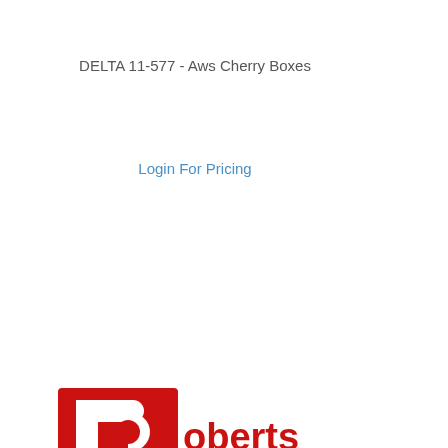DELTA 11-577 - Aws Cherry Boxes
Login For Pricing
[Figure (logo): Roberts Tool & Supply Co. logo — large red R with white cutout, followed by 'oberts' in red text, and 'TOOL & SUPPLY CO.' on a red background banner below]
DELTA 11-579 - Aws Magnetic Trai
Login For Pricing